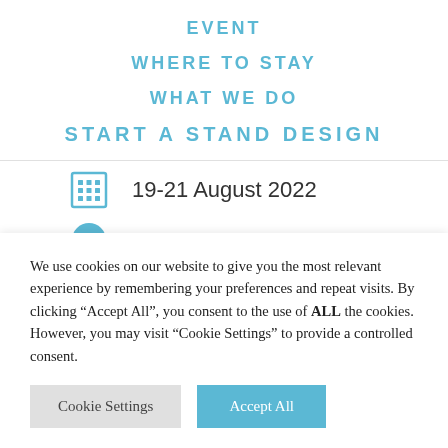EVENT
WHERE TO STAY
WHAT WE DO
START A STAND DESIGN
19-21 August 2022
We use cookies on our website to give you the most relevant experience by remembering your preferences and repeat visits. By clicking “Accept All”, you consent to the use of ALL the cookies. However, you may visit "Cookie Settings" to provide a controlled consent.